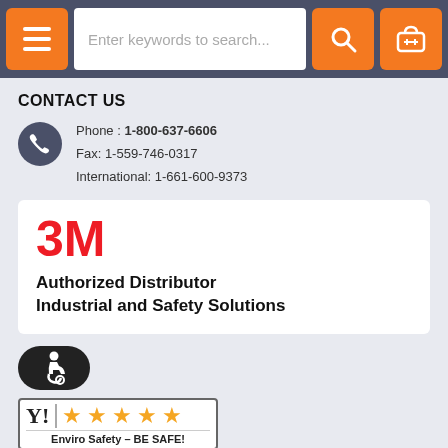Navigation bar with hamburger menu, search field 'Enter keywords to search...', search button, and cart button
CONTACT US
Phone : 1-800-637-6606
Fax: 1-559-746-0317
International: 1-661-600-9373
[Figure (logo): 3M logo in red with text 'Authorized Distributor Industrial and Safety Solutions']
[Figure (logo): Accessibility wheelchair icon badge (dark oval)]
[Figure (logo): Enviro Safety 5-star rating badge with Y! logo and text 'Enviro Safety – BE SAFE!']
About Enviro Safety
Join Our Team